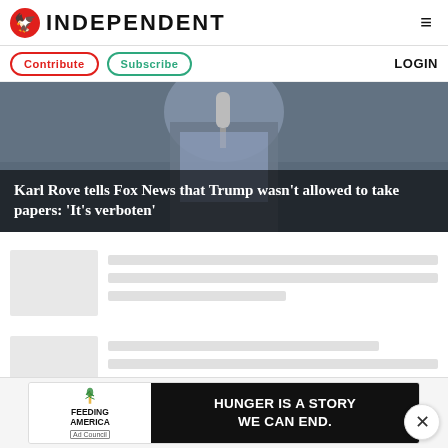INDEPENDENT
Contribute  Subscribe  LOGIN
[Figure (photo): Person holding a microphone, wearing a suit, photo used as hero image background]
Karl Rove tells Fox News that Trump wasn’t allowed to take papers: ‘It’s verboten’
[Figure (photo): Article thumbnail placeholder image (gray box)]
Article text placeholder lines
[Figure (photo): Article thumbnail placeholder image (gray box)]
Article text placeholder lines
[Figure (infographic): Advertisement banner: Feeding America - HUNGER IS A STORY WE CAN END.]